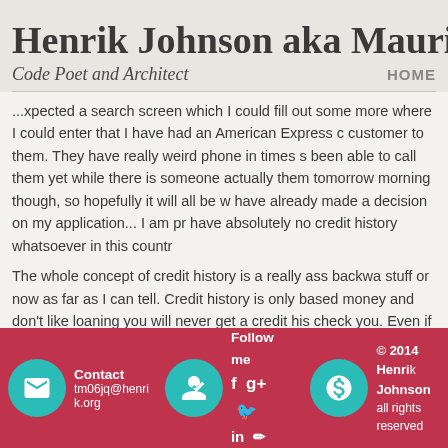Henrik Johnson aka Mauritz
Code Poet and Architect
HOME
where I could enter that I have had an American Express c customer to them. They have really weird phone in times s been able to call them yet while there is someone actually them tomorrow morning though, so hopefully it will all be w have already made a decision on my application... I am pr have absolutely no credit history whatsoever in this countr
The whole concept of credit history is a really ass backwa stuff or now as far as I can tell. Credit history is only based money and don't like loaning you will never get a credit his check you. Even if you have tens of thousands of dollars i since you don't have a credit history. I talked to the bank o
Contact tm06jq@henrik.org | Follow me f g+ twitter in blogger | © 2014 Henrik Johnson all rights reserved